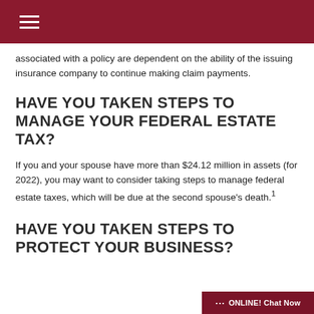associated with a policy are dependent on the ability of the issuing insurance company to continue making claim payments.
HAVE YOU TAKEN STEPS TO MANAGE YOUR FEDERAL ESTATE TAX?
If you and your spouse have more than $24.12 million in assets (for 2022), you may want to consider taking steps to manage federal estate taxes, which will be due at the second spouse's death.¹
HAVE YOU TAKEN STEPS TO PROTECT YOUR BUSINESS?